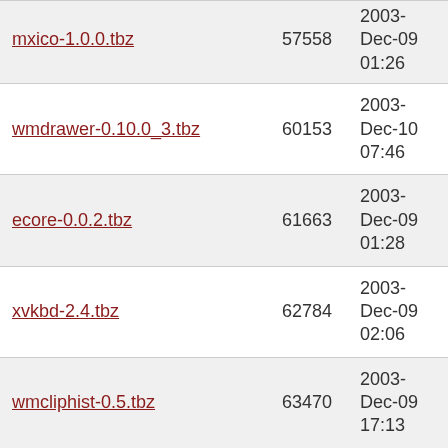| Filename | Size | Date |
| --- | --- | --- |
| mxico-1.0.0.tbz | 57558 | 2003-Dec-09 01:26 |
| wmdrawer-0.10.0_3.tbz | 60153 | 2003-Dec-10 07:46 |
| ecore-0.0.2.tbz | 61663 | 2003-Dec-09 01:28 |
| xvkbd-2.4.tbz | 62784 | 2003-Dec-09 02:06 |
| wmcliphist-0.5.tbz | 63470 | 2003-Dec-09 17:13 |
| xmon-1.5.6.tbz | 64742 | 2003-Dec-09 02:02 |
| 3ddesktop-0.2.5_1.tbz | 64889 | 2003-Dec-09 22:14 |
| idesk-0.5.6.tbz | 66553 | 2003-Dec-11 11:58 |
| rxvt-2.6.4_1.tbz | 66670 | 2003-Dec-09 01:33 |
| gnomemag-0.10.3.tbz | 67319 | 2003-Dec-11 11:41 |
| libsx-1.1.tbz | 68666 | 2003-Dec-09 08:16 |